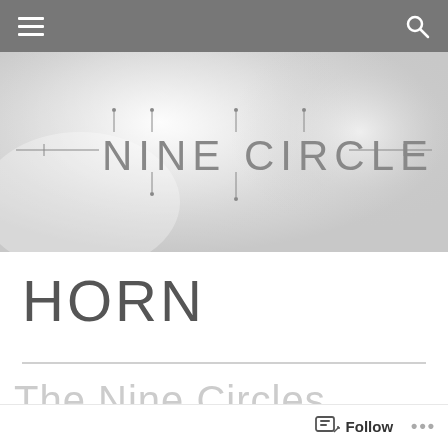[Navigation bar with hamburger menu and search icon]
[Figure (logo): Nine Circles decorative logo text with horizontal lines and geometric letterforms on a light grey gradient background]
HORN
The Nine Circles Playlist
Follow ...